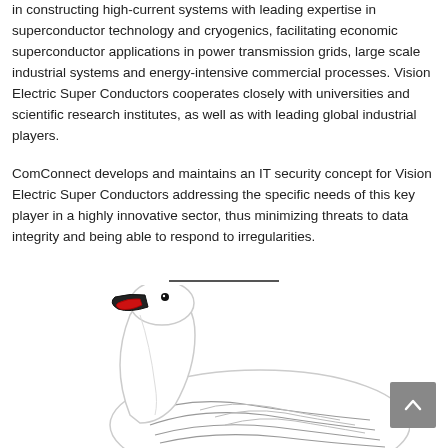in constructing high-current systems with leading expertise in superconductor technology and cryogenics, facilitating economic superconductor applications in power transmission grids, large scale industrial systems and energy-intensive commercial processes. Vision Electric Super Conductors cooperates closely with universities and scientific research institutes, as well as with leading global industrial players.
ComConnect develops and maintains an IT security concept for Vision Electric Super Conductors addressing the specific needs of this key player in a highly innovative sector, thus minimizing threats to data integrity and being able to respond to irregularities.
[Figure (illustration): Drawing of a white swan with a black and red beak, showing the neck and body with detailed feather linework.]